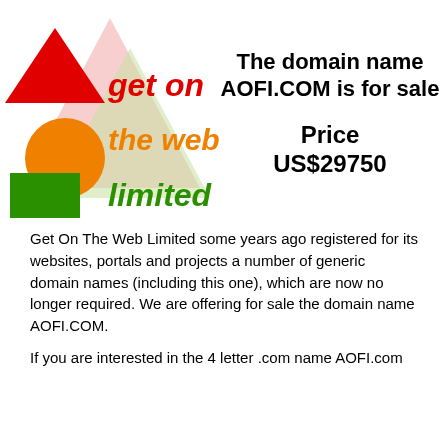[Figure (logo): Get On The Web Limited logo with red triangle, orange circle, green square, and pink/peach overlapping triangle shapes with colored text 'get on the web limited']
The domain name AOFI.COM is for sale
Price US$29750
Get On The Web Limited some years ago registered for its websites, portals and projects a number of generic domain names (including this one), which are now no longer required. We are offering for sale the domain name AOFI.COM.
If you are interested in the 4 letter .com name AOFI.com